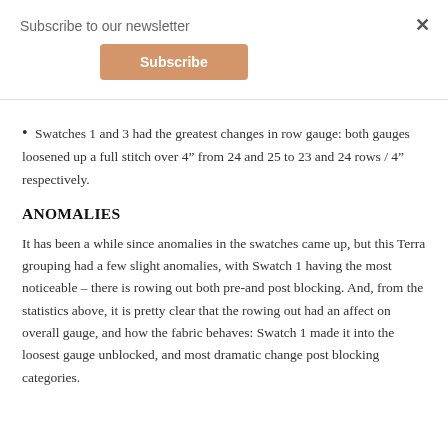Subscribe to our newsletter  Subscribe
Swatches 1 and 3 had the greatest changes in row gauge: both gauges loosened up a full stitch over 4” from 24 and 25 to 23 and 24 rows / 4” respectively.
ANOMALIES
It has been a while since anomalies in the swatches came up, but this Terra grouping had a few slight anomalies, with Swatch 1 having the most noticeable – there is rowing out both pre-and post blocking. And, from the statistics above, it is pretty clear that the rowing out had an affect on overall gauge, and how the fabric behaves: Swatch 1 made it into the loosest gauge unblocked, and most dramatic change post blocking categories.